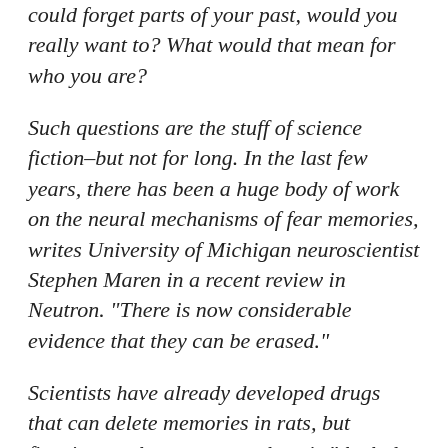could forget parts of your past, would you really want to? What would that mean for who you are?
Such questions are the stuff of science fiction–but not for long. In the last few years, there has been a huge body of work on the neural mechanisms of fear memories, writes University of Michigan neuroscientist Stephen Maren in a recent review in Neutron. "There is now considerable evidence that they can be erased."
Scientists have already developed drugs that can delete memories in rats, but figuring out how to target them is "the holy